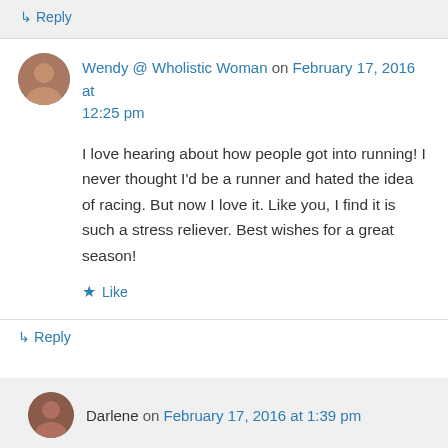↳ Reply
Wendy @ Wholistic Woman on February 17, 2016 at 12:25 pm
I love hearing about how people got into running! I never thought I'd be a runner and hated the idea of racing. But now I love it. Like you, I find it is such a stress reliever. Best wishes for a great season!
★ Like
↳ Reply
Darlene on February 17, 2016 at 1:39 pm